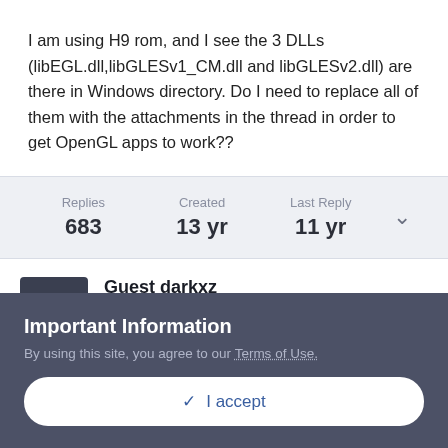I am using H9 rom, and I see the 3 DLLs (libEGL.dll,libGLESv1_CM.dll and libGLESv2.dll) are there in Windows directory. Do I need to replace all of them with the attachments in the thread in order to get OpenGL apps to work??
Replies 683 | Created 13 yr | Last Reply 11 yr
Guest darkxz
Posted October 3, 2009
Important Information
By using this site, you agree to our Terms of Use.
✓ I accept